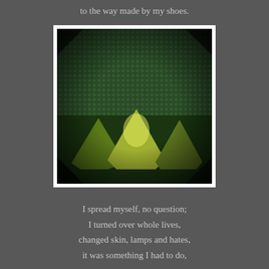to the way made by my shoes.
[Figure (photo): A dark, high-contrast photograph showing three yellow-green cushions or pillows arranged on a green textured surface, with a dark vignette border effect. The wall behind is covered in a green patterned fabric or material.]
I spread myself, no question;
I turned over whole lives,
changed skin, lamps and hates,
it was something I had to do,